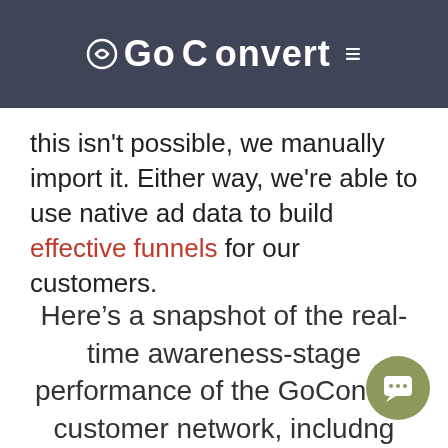GoConvert
When systems allow it, GoConvert automatically aggregates ad data and pushes it live. When this isn’t possible, we manually import it. Either way, we’re able to use native ad data to build effective funnels for our customers.
Here’s a snapshot of the real-time awareness-stage performance of the GoConvert customer network, including